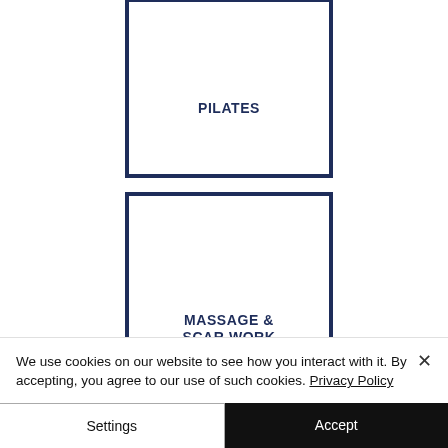[Figure (illustration): A card/tile with a dark navy border and centered bold uppercase text reading PILATES]
[Figure (illustration): A card/tile with a dark navy border and bold uppercase text reading MASSAGE & SCAR WORK at the bottom, partially cropped]
We use cookies on our website to see how you interact with it. By accepting, you agree to our use of such cookies. Privacy Policy
Settings
Accept